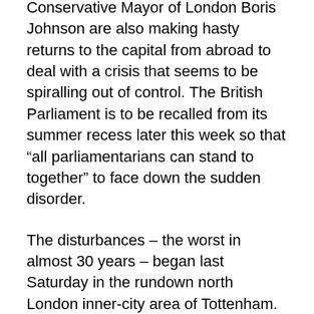Conservative Mayor of London Boris Johnson are also making hasty returns to the capital from abroad to deal with a crisis that seems to be spiralling out of control. The British Parliament is to be recalled from its summer recess later this week so that “all parliamentarians can stand to together” to face down the sudden disorder.
The disturbances – the worst in almost 30 years – began last Saturday in the rundown north London inner-city area of Tottenham. That followed the shooting dead two days earlier of a young black man by police officers.
Mark Duggan was fatally shot by an armed police unit as he sat in his car. Police claimed that the man was threatening to use a gun. However, family and friends of the 29-year-old victim strongly denied that he was armed or involved in any criminal activity. The death is the subject of an ongoing independent investigation and...